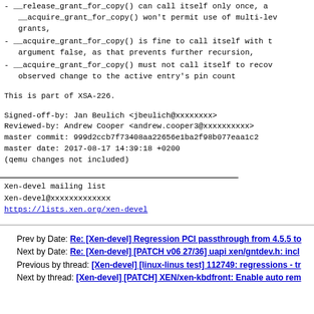- __release_grant_for_copy() can call itself only once, as __acquire_grant_for_copy() won't permit use of multi-level grants,
- __acquire_grant_for_copy() is fine to call itself with the argument false, as that prevents further recursion,
- __acquire_grant_for_copy() must not call itself to recover observed change to the active entry's pin count
This is part of XSA-226.
Signed-off-by: Jan Beulich <jbeulich@xxxxxxxx>
Reviewed-by: Andrew Cooper <andrew.cooper3@xxxxxxxxxx>
master commit: 999d2ccb7f73408aa22656e1ba2f98b077eaa1c2
master date: 2017-08-17 14:39:18 +0200
(qemu changes not included)
Xen-devel mailing list
Xen-devel@xxxxxxxxxxxxx
https://lists.xen.org/xen-devel
Prev by Date: Re: [Xen-devel] Regression PCI passthrough from 4.5.5 to
Next by Date: Re: [Xen-devel] [PATCH v06 27/36] uapi xen/gntdev.h: incl
Previous by thread: [Xen-devel] [linux-linus test] 112749: regressions - tr
Next by thread: [Xen-devel] [PATCH] XEN/xen-kbdfront: Enable auto rem